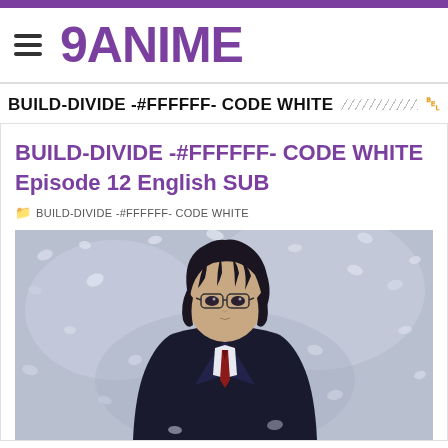9ANIME
BUILD-DIVIDE -#FFFFFF- CODE WHITE
BUILD-DIVIDE -#FFFFFF- CODE WHITE Episode 12 English SUB
BUILD-DIVIDE -#FFFFFF- CODE WHITE
[Figure (illustration): Anime screenshot showing a dark-haired male character in a black school uniform with red tie, surrounded by pale purple/white flower petals or snow]